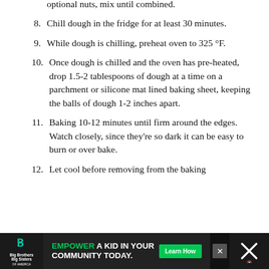optional nuts, mix until combined.
8. Chill dough in the fridge for at least 30 minutes.
9. While dough is chilling, preheat oven to 325 °F.
10. Once dough is chilled and the oven has pre-heated, drop 1.5-2 tablespoons of dough at a time on a parchment or silicone mat lined baking sheet, keeping the balls of dough 1-2 inches apart.
11. Baking 10-12 minutes until firm around the edges. Watch closely, since they're so dark it can be easy to burn or over bake.
12. Let cool before removing from the baking
[Figure (infographic): Advertisement banner for Big Brothers Big Sisters: 'Empower a kid in your community today. Learn How']